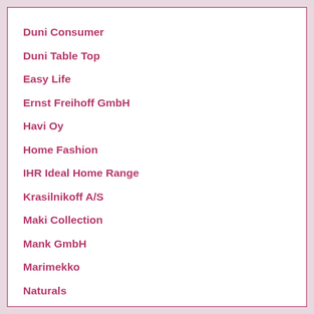Duni Consumer
Duni Table Top
Easy Life
Ernst Freihoff GmbH
Havi Oy
Home Fashion
IHR Ideal Home Range
Krasilnikoff A/S
Maki Collection
Mank GmbH
Marimekko
Naturals